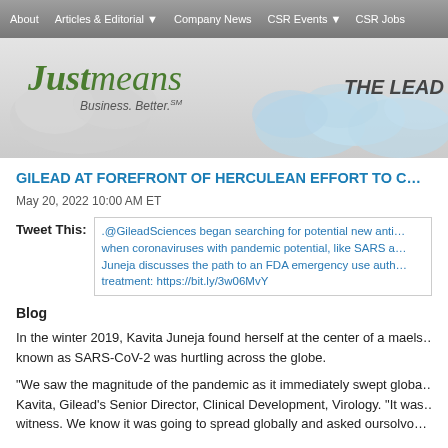About  |  Articles & Editorial ▼  |  Company News  |  CSR Events ▼  |  CSR Jobs
[Figure (logo): Justmeans logo with tagline 'Business. Better. SM' and 'THE LEAD' text on banner with cloud background]
GILEAD AT FOREFRONT OF HERCULEAN EFFORT TO C…
May 20, 2022 10:00 AM ET
Tweet This: .@GileadSciences began searching for potential new anti… when coronaviruses with pandemic potential, like SARS a… Juneja discusses the path to an FDA emergency use auth… treatment: https://bit.ly/3w06MvY
Blog
In the winter 2019, Kavita Juneja found herself at the center of a maels… known as SARS-CoV-2 was hurtling across the globe.
"We saw the magnitude of the pandemic as it immediately swept globa… Kavita, Gilead's Senior Director, Clinical Development, Virology. "It was… witness. We know it was going to spread globally and asked ourselves…